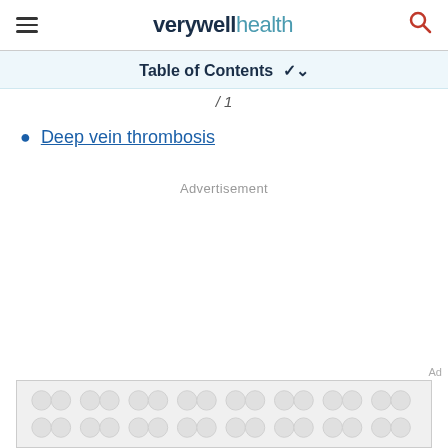verywell health
Table of Contents
/ 1
Deep vein thrombosis
Advertisement
[Figure (other): Advertisement placeholder banner with grey pattern of interconnected circles]